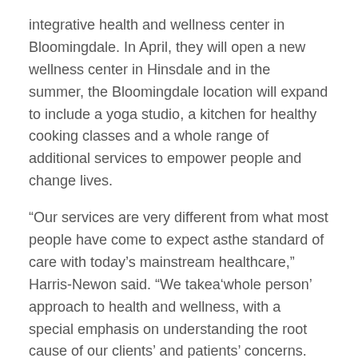integrative health and wellness center in Bloomingdale. In April, they will open a new wellness center in Hinsdale and in the summer, the Bloomingdale location will expand to include a yoga studio, a kitchen for healthy cooking classes and a whole range of additional services to empower people and change lives.
“Our services are very different from what most people have come to expect asthe standard of care with today’s mainstream healthcare,” Harris-Newon said. “We takea‘whole person’ approach to health and wellness, with a special emphasis on understanding the root cause of our clients’ and patients’ concerns. We honor and respect our clients and treat the body, mind and spirit.”
The center offers traditional and holistic health and wellness services – both Eastern and Western health approaches – that include but are not limited to integrative